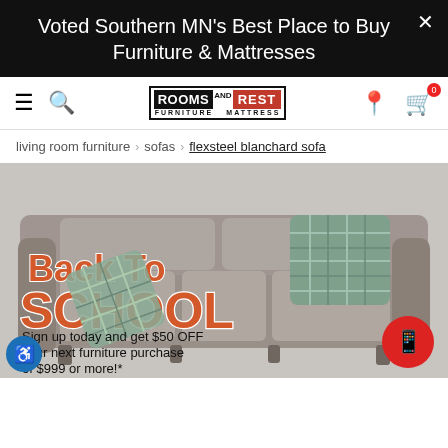Voted Southern MN's Best Place to Buy Furniture & Mattresses
[Figure (logo): Rooms and Rest Furniture Mattress logo]
living room furniture › sofas › flexsteel blanchard sofa
[Figure (photo): Gray sofa with plaid throw pillow, Back To School promotional overlay text, sign up today and get $50 OFF your next furniture purchase of $999 or more!*]